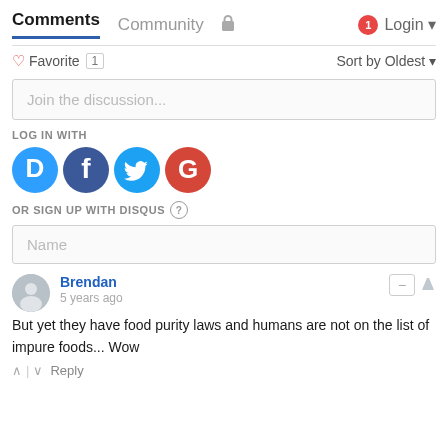Comments   Community   [lock]   [1] Login
♡ Favorite 1   Sort by Oldest ▾
Join the discussion...
LOG IN WITH
[Figure (illustration): Social login icons: Disqus (blue D), Facebook (dark blue f), Twitter (light blue bird), Google (red G)]
OR SIGN UP WITH DISQUS ?
Name
Brendan
5 years ago
But yet they have food purity laws and humans are not on the list of impure foods... Wow
^ | ˅  Reply